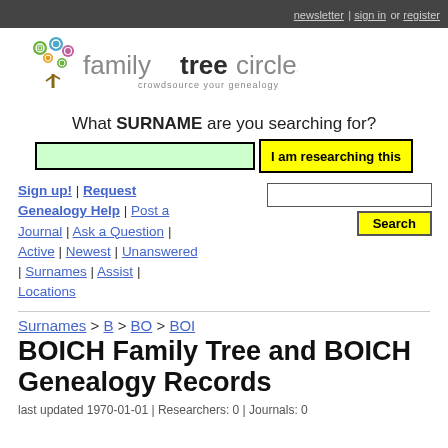newsletter | sign in or register
[Figure (logo): Family Tree Circles logo with colorful spiral tree and text 'familytreecircles - crowdsource your genealogy']
What SURNAME are you searching for?
Sign up! | Request Genealogy Help | Post a Journal | Ask a Question | Active | Newest | Unanswered | Surnames | Assist | Locations
Surnames > B > BO > BOI
BOICH Family Tree and BOICH Genealogy Records
last updated 1970-01-01 | Researchers: 0 | Journals: 0